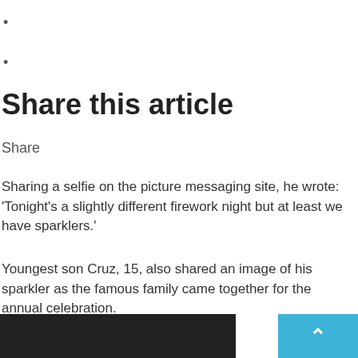•
•
Share this article
Share
Sharing a selfie on the picture messaging site, he wrote:  'Tonight's a slightly different firework night but at least we have sparklers.'
Youngest son Cruz, 15, also shared an image of his sparkler as the famous family came together for the annual celebration.